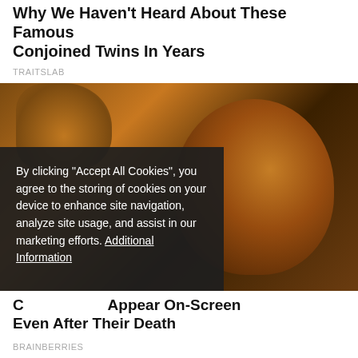Why We Haven't Heard About These Famous Conjoined Twins In Years
TRAITSLAB
[Figure (photo): Photo of a person (resembling Bruce Lee) with warm orange-brown lighting, raising a hand, smiling, with a cookie consent overlay dialog covering the lower-left portion of the image.]
By clicking "Accept All Cookies", you agree to the storing of cookies on your device to enhance site navigation, analyze site usage, and assist in our marketing efforts. Additional Information
C... Appear On-Screen Even After Their Death
BRAINBERRIES